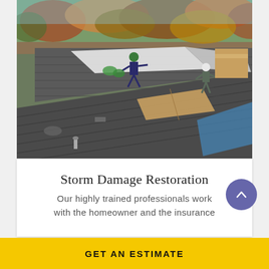[Figure (photo): Aerial view of roofing workers in hard hats installing new roofing material on a residential roof, with autumn trees visible in the background and construction materials scattered on the roof surface.]
Storm Damage Restoration
Our highly trained professionals work with the homeowner and the insurance
GET AN ESTIMATE